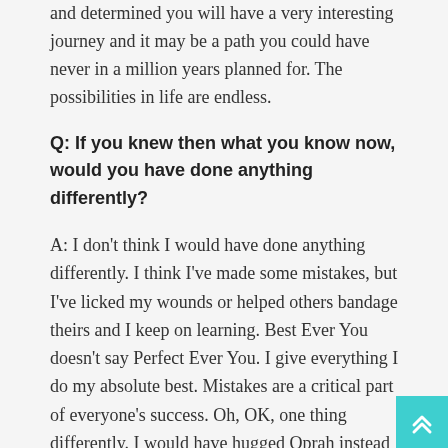and determined you will have a very interesting journey and it may be a path you could have never in a million years planned for. The possibilities in life are endless.
Q: If you knew then what you know now, would you have done anything differently?
A: I don't think I would have done anything differently. I think I've made some mistakes, but I've licked my wounds or helped others bandage theirs and I keep on learning. Best Ever You doesn't say Perfect Ever You. I give everything I do my absolute best. Mistakes are a critical part of everyone's success. Oh, OK, one thing differently. I would have hugged Oprah instead of just touched her arm and said